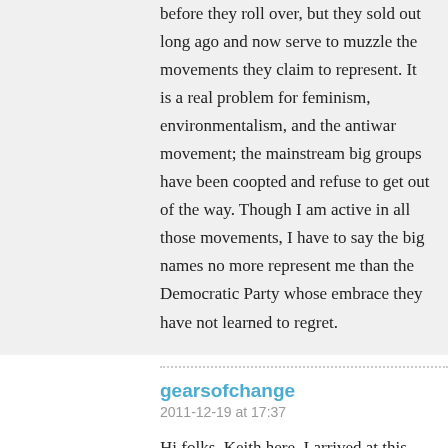before they roll over, but they sold out long ago and now serve to muzzle the movements they claim to represent. It is a real problem for feminism, environmentalism, and the antiwar movement; the mainstream big groups have been coopted and refuse to get out of the way. Though I am active in all those movements, I have to say the big names no more represent me than the Democratic Party whose embrace they have not learned to regret.
gearsofchange
2011-12-19 at 17:37
Hi folks, Keith here. I arrived at this action with the intent to document it, and left in the back of a South African police truck